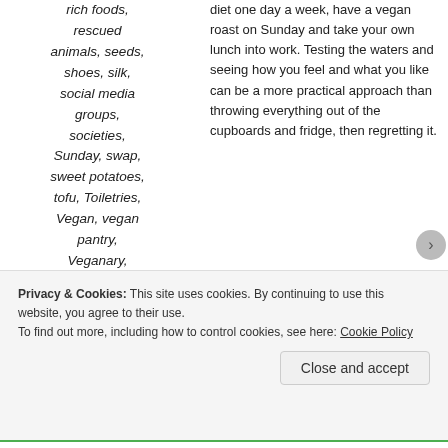rich foods, rescued animals, seeds, shoes, silk, social media groups, societies, Sunday, swap, sweet potatoes, tofu, Toiletries, Vegan, vegan pantry, Veganary, vegetables, websites, wholemeal
diet one day a week, have a vegan roast on Sunday and take your own lunch into work. Testing the waters and seeing how you feel and what you like can be a more practical approach than throwing everything out of the cupboards and fridge, then regretting it.
[Figure (logo): Automattic logo with compass icon and text 'AUTOMATTIC' in spaced caps]
Build a better web and a better world.
[Figure (photo): A man in a beige shirt, thoughtful pose in a circular photo frame, with an Apply button]
Privacy & Cookies: This site uses cookies. By continuing to use this website, you agree to their use. To find out more, including how to control cookies, see here: Cookie Policy
Close and accept